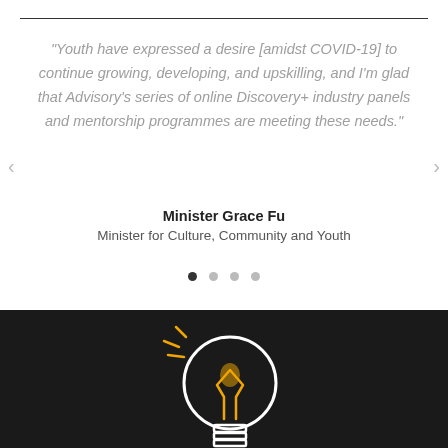"Youth have expressed a desire [amidst COVID-19] to continue growing, developing, and upskilling, and I'm glad that Advisory's series of online Discovery+ industry panels and mentorship programmes are meeting these needs."
Minister Grace Fu
Minister for Culture, Community and Youth
[Figure (illustration): White outline lightbulb illustration on a dark/black background. The bulb has an orange glowing filament inside and orange spark/shine lines radiating from the upper left of the bulb.]